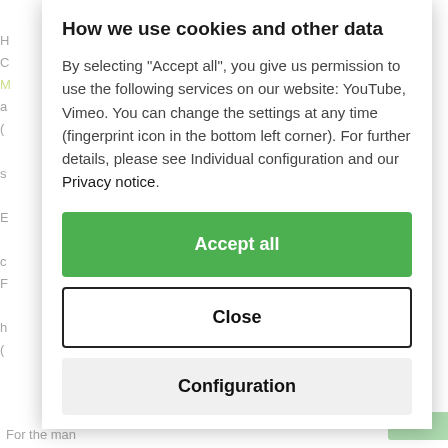How we use cookies and other data
By selecting "Accept all", you give us permission to use the following services on our website: YouTube, Vimeo. You can change the settings at any time (fingerprint icon in the bottom left corner). For further details, please see Individual configuration and our Privacy notice.
Accept all
Close
Configuration
For the man